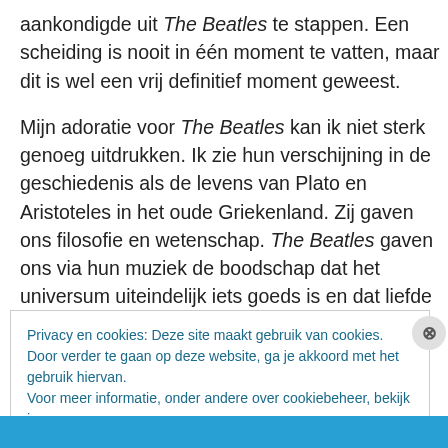aankondigde uit The Beatles te stappen. Een scheiding is nooit in één moment te vatten, maar dit is wel een vrij definitief moment geweest.
Mijn adoratie voor The Beatles kan ik niet sterk genoeg uitdrukken. Ik zie hun verschijning in de geschiedenis als de levens van Plato en Aristoteles in het oude Griekenland. Zij gaven ons filosofie en wetenschap. The Beatles gaven ons via hun muziek de boodschap dat het universum uiteindelijk iets goeds is en dat liefde de drijvende kracht is.
Privacy en cookies: Deze site maakt gebruik van cookies. Door verder te gaan op deze website, ga je akkoord met het gebruik hiervan.
Voor meer informatie, onder andere over cookiebeheer, bekijk je:
Cookiebeleid
Sluiten en bevestigen